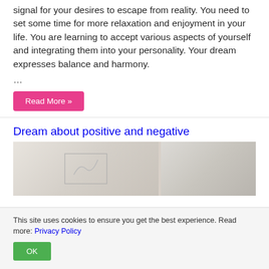signal for your desires to escape from reality. You need to set some time for more relaxation and enjoyment in your life. You are learning to accept various aspects of yourself and integrating them into your personality. Your dream expresses balance and harmony.
…
Read More »
Dream about positive and negative
[Figure (photo): A partially visible interior photo showing a whiteboard or chart on the left side and shelving or cabinets on the right side, with a faded warm-toned color palette.]
This site uses cookies to ensure you get the best experience. Read more: Privacy Policy
OK